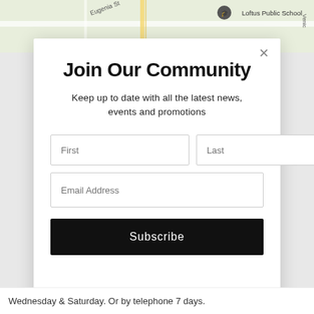[Figure (screenshot): Google Maps screenshot showing Loftus Public School area with street Eugenia St visible]
Join Our Community
Keep up to date with all the latest news, events and promotions
Wednesday & Saturday. Or by telephone 7 days.